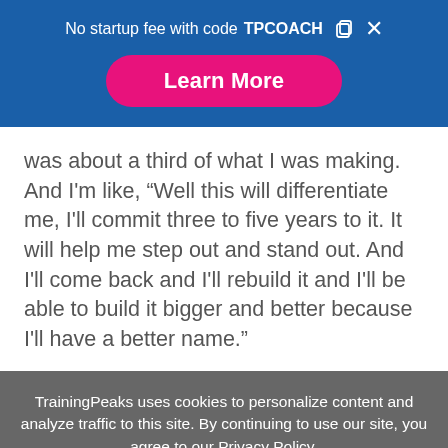No startup fee with code TPCOACH
was about a third of what I was making. And I'm like, “Well this will differentiate me, I'll commit three to five years to it. It will help me step out and stand out. And I'll come back and I'll rebuild it and I'll be able to build it bigger and better because I'll have a better name.”
TrainingPeaks uses cookies to personalize content and analyze traffic to this site. By continuing to use our site, you agree to our Privacy Policy.